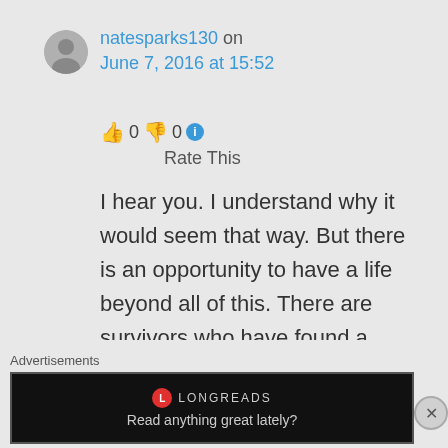natesparks130 on June 7, 2016 at 15:52
👍 0 👎 0 ℹ Rate This
I hear you. I understand why it would seem that way. But there is an opportunity to have a life beyond all of this. There are survivors who have found a
Advertisements
[Figure (screenshot): Longreads advertisement banner with black background, Longreads logo, and text 'Read anything great lately?']